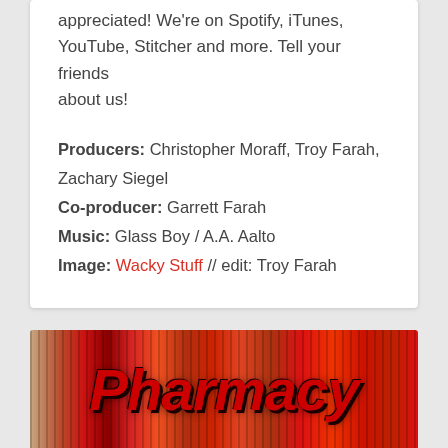appreciated! We're on Spotify, iTunes, YouTube, Stitcher and more. Tell your friends about us!
Producers: Christopher Moraff, Troy Farah, Zachary Siegel
Co-producer: Garrett Farah
Music: Glass Boy / A.A. Aalto
Image: Wacky Stuff // edit: Troy Farah
[Figure (illustration): Red stylized 'Pharmacy' text logo with vertical stripe distortion effect on a warm red/orange/brown background]